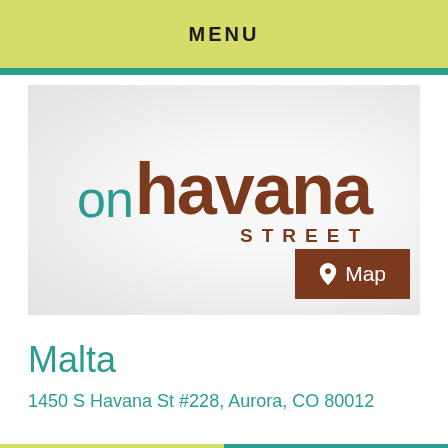MENU
[Figure (logo): On Havana Street restaurant logo with teal 'on' text and brown 'havana' text, plus a brown 'Map' button with location pin icon]
Malta
1450 S Havana St #228, Aurora, CO 80012